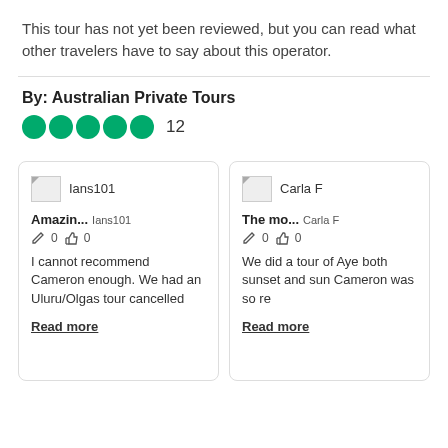This tour has not yet been reviewed, but you can read what other travelers have to say about this operator.
By: Australian Private Tours
[Figure (other): 5 green filled circles (star rating) followed by the number 12]
[Figure (other): Review card for Ians101: title 'Amazin...' Ians101, 0 edits 0 likes. Text: I cannot recommend Cameron enough. We had an Uluru/Olgas tour cancelled. Read more link.]
[Figure (other): Review card for Carla F: title 'The mo...' Carla F, 0 edits 0 likes. Text: We did a tour of Aye both sunset and sun Cameron was so re. Read more link.]